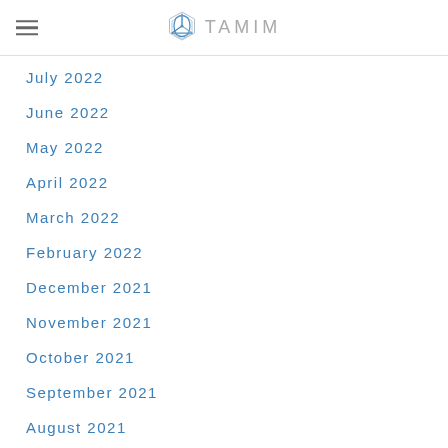TAMIM
July 2022
June 2022
May 2022
April 2022
March 2022
February 2022
December 2021
November 2021
October 2021
September 2021
August 2021
July 2021